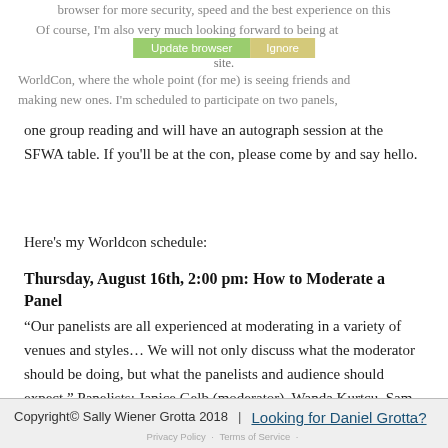browser for more security, speed and the best experience on this site. Of course, I'm also very much looking forward to being at WorldCon, where the whole point (for me) is seeing friends and making new ones. I'm scheduled to participate on two panels, one group reading and will have an autograph session at the SFWA table. If you'll be at the con, please come by and say hello.
Here's my Worldcon schedule:
Thursday, August 16th, 2:00 pm: How to Moderate a Panel
“Our panelists are all experienced at moderating in a variety of venues and styles… We will not only discuss what the moderator should be doing, but what the panelists and audience should expect.” Panelists: Janice Gelb (moderator), Wanda Kurtcu, Sam Scheiner and me.
Copyright© Sally Wiener Grotta 2018 | Looking for Daniel Grotta?